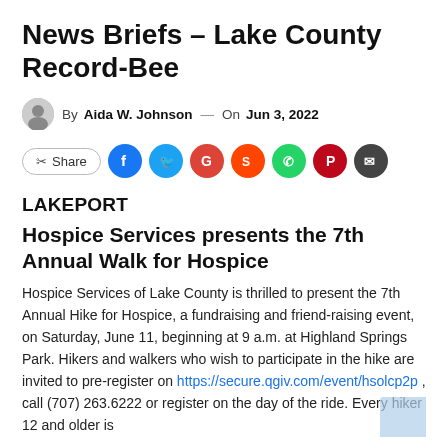News Briefs – Lake County Record-Bee
By Aida W. Johnson — On Jun 3, 2022
[Figure (infographic): Social share buttons row: Share button, Facebook, Twitter, Google+, Reddit, WhatsApp, Pinterest, Email circles]
LAKEPORT
Hospice Services presents the 7th Annual Walk for Hospice
Hospice Services of Lake County is thrilled to present the 7th Annual Hike for Hospice, a fundraising and friend-raising event, on Saturday, June 11, beginning at 9 a.m. at Highland Springs Park. Hikers and walkers who wish to participate in the hike are invited to pre-register on https://secure.qgiv.com/event/hsolcp2p , call (707) 263.6222 or register on the day of the ride. Every hiker 12 and older is